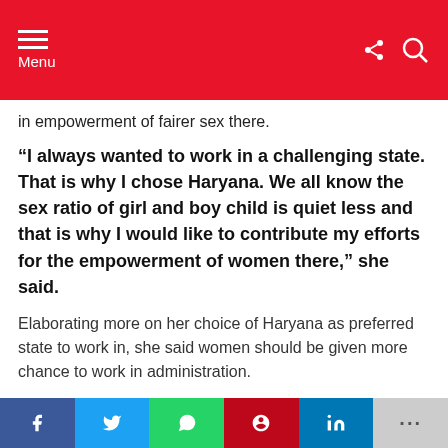Menu
in empowerment of fairer sex there.
“I always wanted to work in a challenging state. That is why I chose Haryana. We all know the sex ratio of girl and boy child is quiet less and that is why I would like to contribute my efforts for the empowerment of women there,” she said.
Elaborating more on her choice of Haryana as preferred state to work in, she said women should be given more chance to work in administration.
Message from IAS Tina Dabi to Future UPSC
f  t  (whatsapp)  p  in  ...